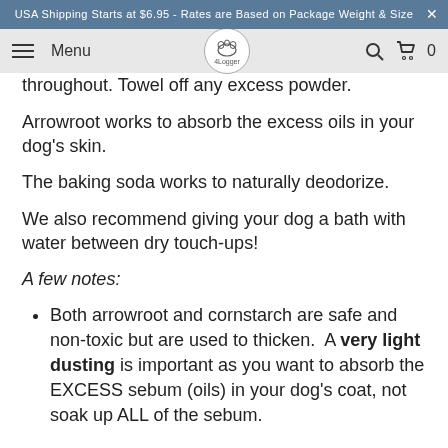USA Shipping Starts at $6.95 - Rates are Based on Package Weight & Size
throughout. Towel off any excess powder.
Arrowroot works to absorb the excess oils in your dog's skin.
The baking soda works to naturally deodorize.
We also recommend giving your dog a bath with water between dry touch-ups!
A few notes:
Both arrowroot and cornstarch are safe and non-toxic but are used to thicken. A very light dusting is important as you want to absorb the EXCESS sebum (oils) in your dog's coat, not soak up ALL of the sebum.